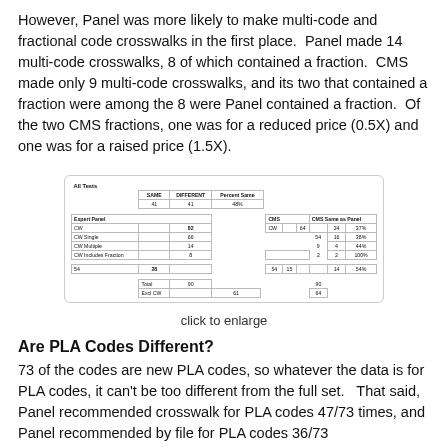However, Panel was more likely to make multi-code and fractional code crosswalks in the first place.  Panel made 14 multi-code crosswalks, 8 of which contained a fraction.  CMS made only 9 multi-code crosswalks, and its two that contained a fraction were among the 8 were Panel contained a fraction.  Of the two CMS fractions, one was for a reduced price (0.5X) and one was for a raised price (1.5X).
[Figure (table-as-image): A small embedded table image showing All Tests data comparing Expert Panel and CMS crosswalk counts, including CW, CW Single, CW Multiple, CW Includes Fraction, and totals. Caption reads 'click to enlarge'.]
click to enlarge
Are PLA Codes Different?
73 of the codes are new PLA codes, so whatever the data is for PLA codes, it can't be too different from the full set.   That said, Panel recommended crosswalk for PLA codes 47/73 times, and Panel recommended by file for PLA codes 36/73